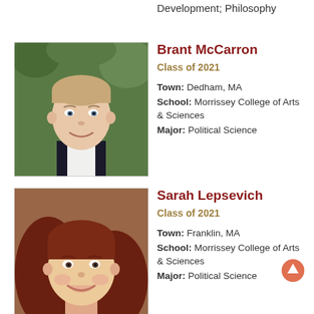Development; Philosophy
Brant McCarron
Class of 2021
Town: Dedham, MA
School: Morrissey College of Arts & Sciences
Major: Political Science
[Figure (photo): Headshot photo of Brant McCarron, a young man wearing a suit smiling outdoors with green foliage background]
Sarah Lepsevich
Class of 2021
Town: Franklin, MA
School: Morrissey College of Arts & Sciences
Major: Political Science
[Figure (photo): Headshot photo of Sarah Lepsevich, a young woman with long brown hair smiling, warm indoor lighting]